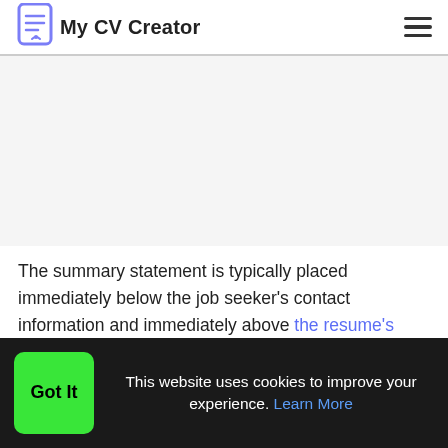My CV Creator
[Figure (screenshot): Advertisement/blank area placeholder]
The summary statement is typically placed immediately below the job seeker's contact information and immediately above the resume's body. A resume summary statement is also known by other
This website uses cookies to improve your experience. Learn More